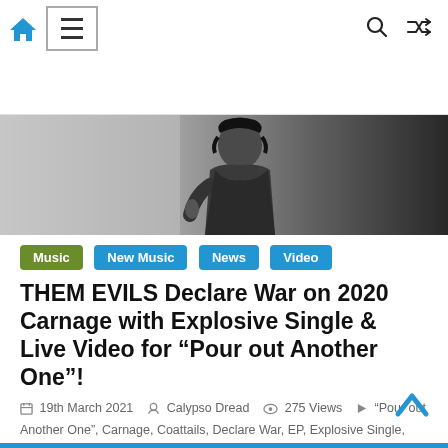Navigation bar with home icon, menu icon, search icon, shuffle icon
[Figure (photo): Black and white photo of a rock musician with tattoos and dark clothing]
Music
New Music
News
Video
THEM EVILS Declare War on 2020 Carnage with Explosive Single & Live Video for “Pour out Another One”!
19th March 2021  Calypso Dread  275 Views  "Pour out Another One", Carnage, Coattails, Declare War, EP, Explosive Single, f*ck it, Heavy Rock, Live Video, party, Rollin' Stoned and Livin' Free, THEM EVILS, Where Ya Gonna Crash Tonight?
Huntington Beach, CA based Heavy Rock band THEM EVILS is tearing into 2021 with their newest, party anthem single “Pour out Another